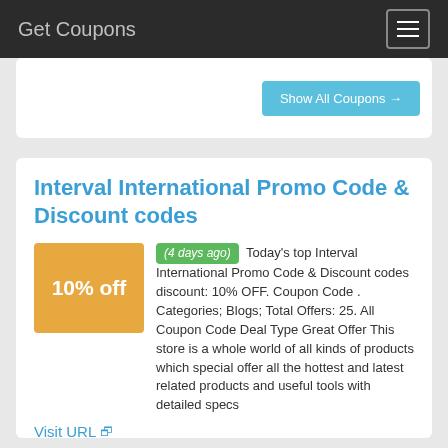Get Coupons
Show All Coupons →
Interval International Promo Code & Discount codes
(4 days ago) Today's top Interval International Promo Code & Discount codes discount: 10% OFF. Coupon Code . Categories; Blogs; Total Offers: 25. All Coupon Code Deal Type Great Offer This store is a whole world of all kinds of products which special offer all the hottest and latest related products and useful tools with detailed specs
Visit URL
Category:  coupon codes
Show All Coupons